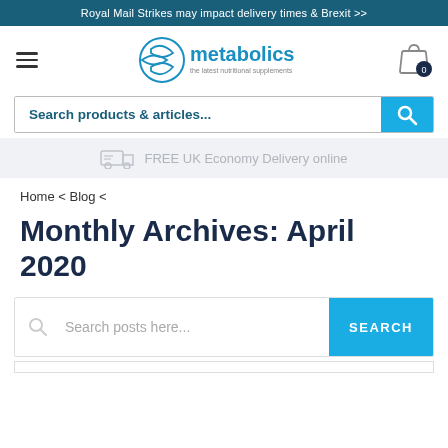Royal Mail Strikes may impact delivery times & Brexit >>
[Figure (logo): Metabolics logo with circular icon and tagline 'the latest nutritional supplements']
[Figure (infographic): Search bar with placeholder 'Search products & articles...' and blue search button]
FREE UK Economy Delivery online
Home < Blog <
Monthly Archives: April 2020
[Figure (infographic): Search posts here... input with SEARCH button]